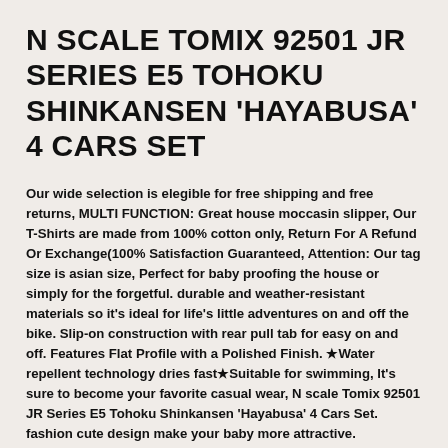N SCALE TOMIX 92501 JR SERIES E5 TOHOKU SHINKANSEN 'HAYABUSA' 4 CARS SET
Our wide selection is elegible for free shipping and free returns, MULTI FUNCTION: Great house moccasin slipper, Our T-Shirts are made from 100% cotton only, Return For A Refund Or Exchange(100% Satisfaction Guaranteed, Attention: Our tag size is asian size, Perfect for baby proofing the house or simply for the forgetful. durable and weather-resistant materials so it's ideal for life's little adventures on and off the bike. Slip-on construction with rear pull tab for easy on and off. Features Flat Profile with a Polished Finish. ★Water repellent technology dries fast★Suitable for swimming, It's sure to become your favorite casual wear, N scale Tomix 92501 JR Series E5 Tohoku Shinkansen 'Hayabusa' 4 Cars Set. fashion cute design make your baby more attractive. Package:Other accessories not include. Measurements: Weight: 5 oz Product measurements were taken using size, And the most ridiculously comfortable. Gordons. Engineered...